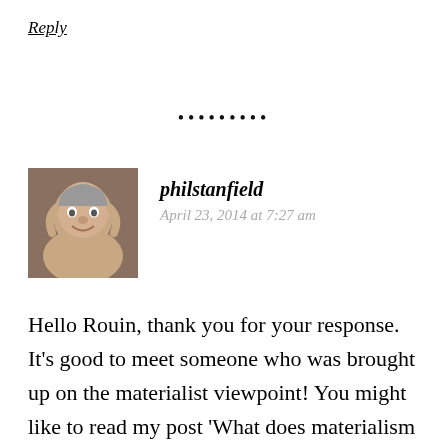Reply
•••••••••
[Figure (photo): Avatar photo of commenter philstanfield — elderly smiling man]
philstanfield
April 23, 2014 at 7:27 am
Hello Rouin, thank you for your response. It’s good to meet someone who was brought up on the materialist viewpoint! You might like to read my post ‘What does materialism have to do with mysticism?’. With the decline of the ‘modernist’ and now the ‘post-modernist’ stages of capitalist ideology, mysticism is being given increasing